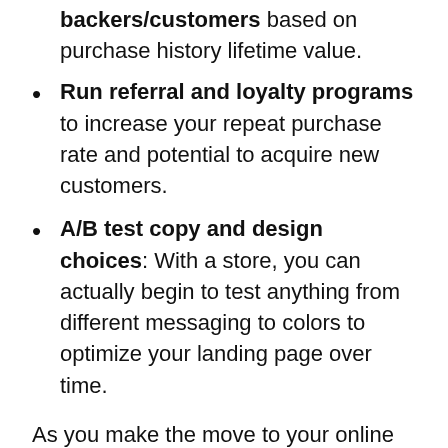backers/customers based on purchase history lifetime value.
Run referral and loyalty programs to increase your repeat purchase rate and potential to acquire new customers.
A/B test copy and design choices: With a store, you can actually begin to test anything from different messaging to colors to optimize your landing page over time.
As you make the move to your online store, this guide will cover everything from setting up your Shopify store, migrating your backer data from Kickstarter, fulfilling rewards, and planning for growth.